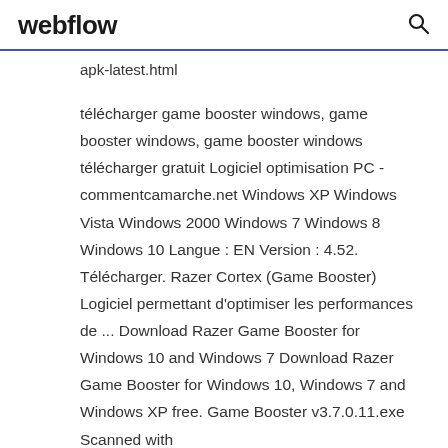webflow
apk-latest.html
télécharger game booster windows, game booster windows, game booster windows télécharger gratuit Logiciel optimisation PC - commentcamarche.net Windows XP Windows Vista Windows 2000 Windows 7 Windows 8 Windows 10 Langue : EN Version : 4.52. Télécharger. Razer Cortex (Game Booster) Logiciel permettant d'optimiser les performances de ... Download Razer Game Booster for Windows 10 and Windows 7 Download Razer Game Booster for Windows 10, Windows 7 and Windows XP free. Game Booster v3.7.0.11.exe Scanned with